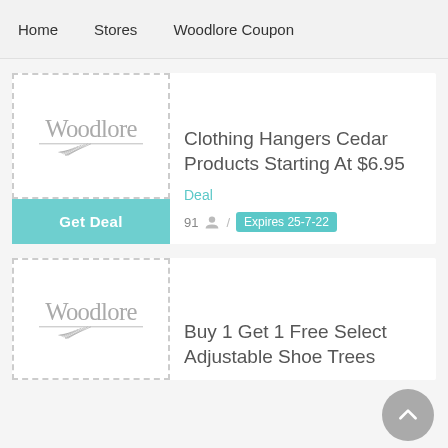Home  Stores  Woodlore Coupon
[Figure (logo): Woodlore brand logo with feather/leaf decoration]
Clothing Hangers Cedar Products Starting At $6.95
Deal
91 / Expires 25-7-22
[Figure (logo): Woodlore brand logo with feather/leaf decoration]
Buy 1 Get 1 Free Select Adjustable Shoe Trees